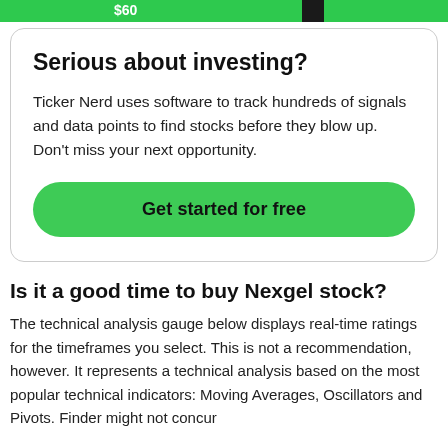[Figure (other): Green top bar showing '$60' price label with black vertical accent bars]
Serious about investing?
Ticker Nerd uses software to track hundreds of signals and data points to find stocks before they blow up. Don't miss your next opportunity.
Get started for free
Is it a good time to buy Nexgel stock?
The technical analysis gauge below displays real-time ratings for the timeframes you select. This is not a recommendation, however. It represents a technical analysis based on the most popular technical indicators: Moving Averages, Oscillators and Pivots. Finder might not concur